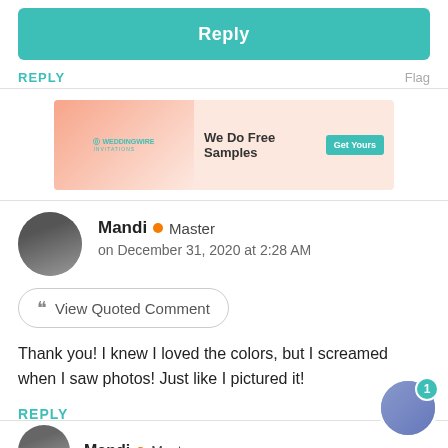Reply
REPLY   Flag
[Figure (infographic): WeddingWire Invitations advertisement banner with pink background, invitation cards imagery, text 'We Do Free Samples' and a teal 'Get Yours' button]
Mandi • Master
on December 31, 2020 at 2:28 AM
View Quoted Comment
Thank you! I knew I loved the colors, but I screamed when I saw photos! Just like I pictured it!
REPLY
Mandi • Master